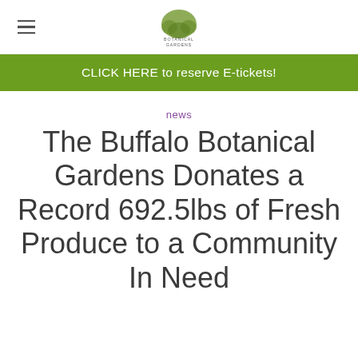Botanical Gardens
CLICK HERE to reserve E-tickets!
news
The Buffalo Botanical Gardens Donates a Record 692.5lbs of Fresh Produce to a Community In Need